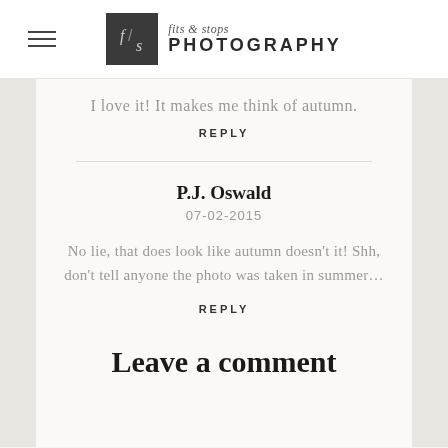fits & stops PHOTOGRAPHY
I love it! It makes me think of autumn.
REPLY
P.J. Oswald
07-02-2015
No lie, that does look like autumn doesn't it! Shh, don't tell anyone the photo was taken in summer…
REPLY
Leave a comment